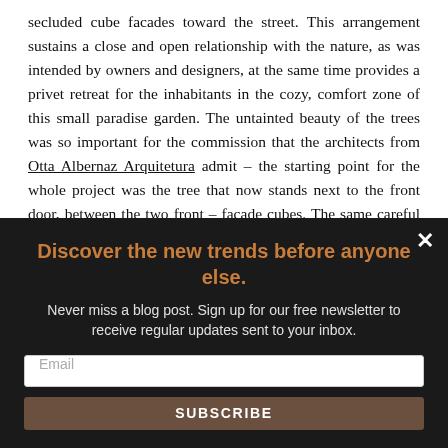secluded cube facades toward the street. This arrangement sustains a close and open relationship with the nature, as was intended by owners and designers, at the same time provides a privet retreat for the inhabitants in the cozy, comfort zone of this small paradise garden. The untainted beauty of the trees was so important for the commission that the architects from Otta Albernaz Arquitetura admit – the starting point for the whole project was the tree that now stands next to the front door, between the two front – facade cubes. The same careful attention toward the plants and trees can be noticed all around the project.
Discover the new trends before anyone else.
Never miss a blog post. Sign up for our free newsletter to receive regular updates sent to your inbox.
Email
SUBSCRIBE